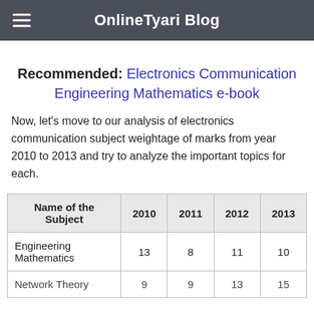OnlineTyari Blog
Recommended: Electronics Communication Engineering Mathematics e-book
Now, let's move to our analysis of electronics communication subject weightage of marks from year 2010 to 2013 and try to analyze the important topics for each.
| Name of the Subject | 2010 | 2011 | 2012 | 2013 |
| --- | --- | --- | --- | --- |
| Engineering Mathematics | 13 | 8 | 11 | 10 |
| Network Theory | 9 | 9 | 13 | 15 |